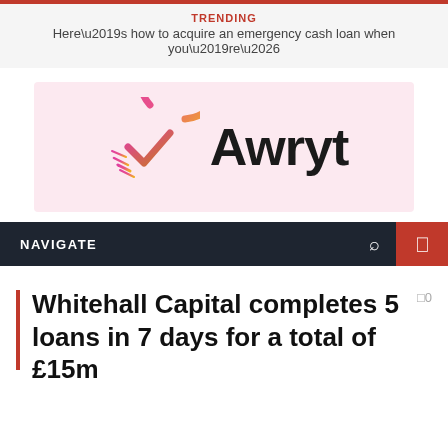TRENDING
Here’s how to acquire an emergency cash loan when you’re…
[Figure (logo): Awryt company logo on a pink/rose background with a circular checkmark icon in pink-to-yellow gradient]
NAVIGATE
Whitehall Capital completes 5 loans in 7 days for a total of £15m